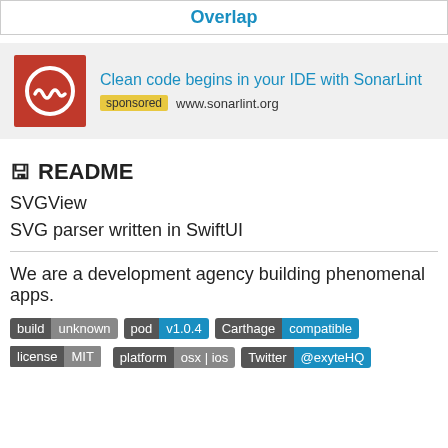Overlap
[Figure (other): SonarLint advertisement banner with red logo. Text: Clean code begins in your IDE with SonarLint. sponsored www.sonarlint.org]
📋 README
SVGView
SVG parser written in SwiftUI
We are a development agency building phenomenal apps.
[Figure (infographic): Badges: build unknown, pod v1.0.4, Carthage compatible, license MIT, platform osx|ios, Twitter @exyteHQ]